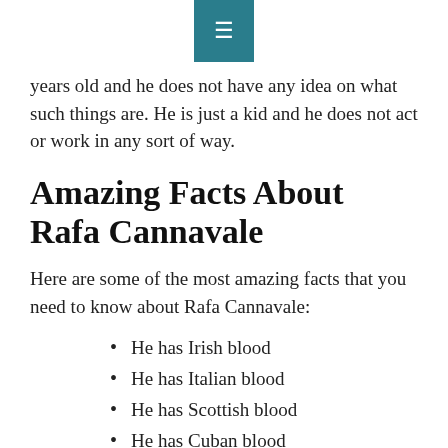≡
years old and he does not have any idea on what such things are. He is just a kid and he does not act or work in any sort of way.
Amazing Facts About Rafa Cannavale
Here are some of the most amazing facts that you need to know about Rafa Cannavale:
He has Irish blood
He has Italian blood
He has Scottish blood
He has Cuban blood
He loves ice cream
His is a Scorpia
His mother started taking classes for